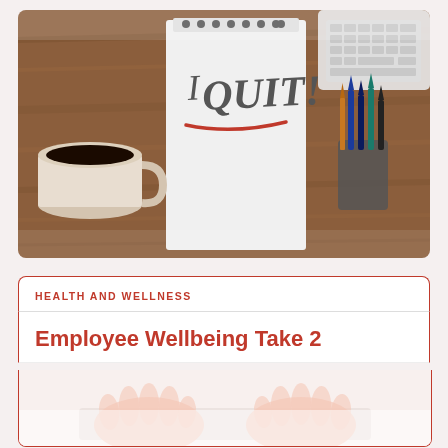[Figure (photo): Overhead view of a wooden desk with a notepad reading 'I QUIT!' in handwriting with a red underline, a white coffee mug with black coffee, a keyboard in the upper right, and a cup of pens and pencils on the right side.]
HEALTH AND WELLNESS
Employee Wellbeing Take 2
[Figure (photo): Partial view of hands on a keyboard, fading/blurred at bottom of page.]